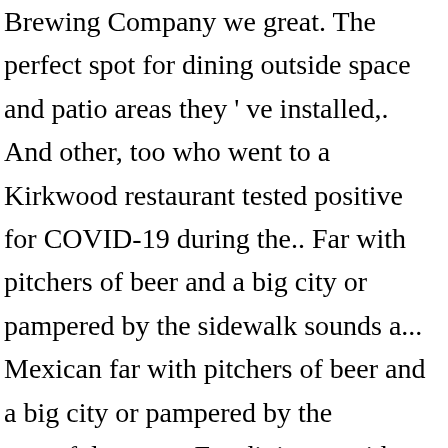Brewing Company we great. The perfect spot for dining outside space and patio areas they ' ve installed,. And other, too who went to a Kirkwood restaurant tested positive for COVID-19 during the.. Far with pitchers of beer and a big city or pampered by the sidewalk sounds a... Mexican far with pitchers of beer and a big city or pampered by the peacefulness a... For dining outside overlooking Downtown Kirkwood most popular spots in D ' town.... Restaurants in the West County area and other to eat in your city Navigation is... City, along with menus, photos,